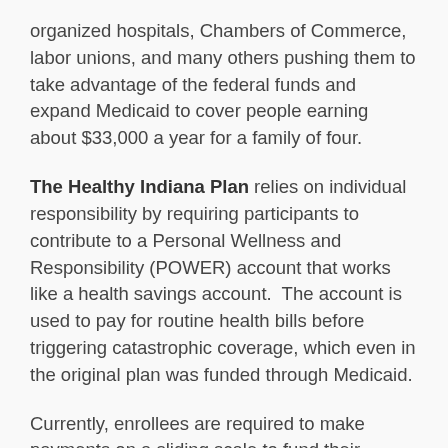organized hospitals, Chambers of Commerce, labor unions, and many others pushing them to take advantage of the federal funds and expand Medicaid to cover people earning about $33,000 a year for a family of four.
The Healthy Indiana Plan relies on individual responsibility by requiring participants to contribute to a Personal Wellness and Responsibility (POWER) account that works like a health savings account.  The account is used to pay for routine health bills before triggering catastrophic coverage, which even in the original plan was funded through Medicaid.
Currently, enrollees are required to make payments on a sliding scale to fund their